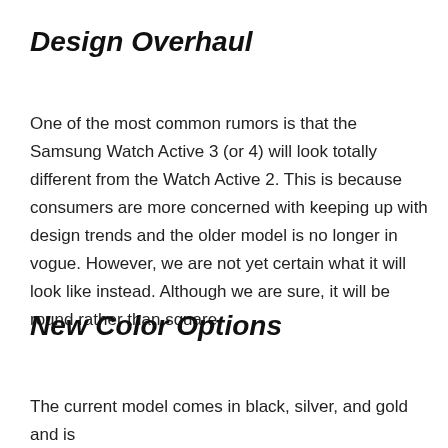Design Overhaul
One of the most common rumors is that the Samsung Watch Active 3 (or 4) will look totally different from the Watch Active 2. This is because consumers are more concerned with keeping up with design trends and the older model is no longer in vogue. However, we are not yet certain what it will look like instead. Although we are sure, it will be round rather than square.
New Color Options
The current model comes in black, silver, and gold and is